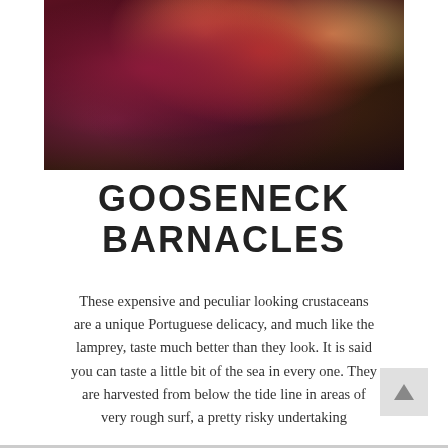[Figure (photo): Close-up photograph of gooseneck barnacles clustered together, showing their dark purple/maroon stalks, red and orange flesh, and barnacle shells, with a textured appearance suggesting fresh seafood.]
GOOSENECK BARNACLES
These expensive and peculiar looking crustaceans are a unique Portuguese delicacy, and much like the lamprey, taste much better than they look. It is said you can taste a little bit of the sea in every one. They are harvested from below the tide line in areas of very rough surf, a pretty risky undertaking